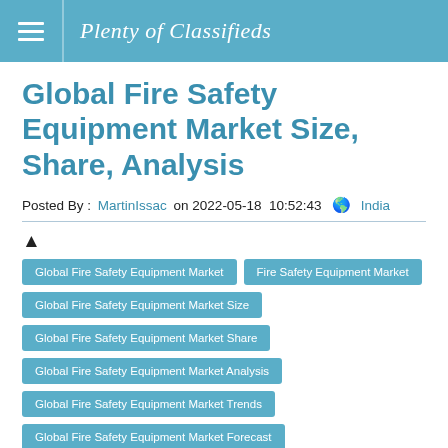Plenty of Classifieds
Global Fire Safety Equipment Market Size, Share, Analysis
Posted By : MartinIssac on 2022-05-18  10:52:43  India
Global Fire Safety Equipment Market
Fire Safety Equipment Market
Global Fire Safety Equipment Market Size
Global Fire Safety Equipment Market Share
Global Fire Safety Equipment Market Analysis
Global Fire Safety Equipment Market Trends
Global Fire Safety Equipment Market Forecast
Global Fire Safety Equipment Market Growth